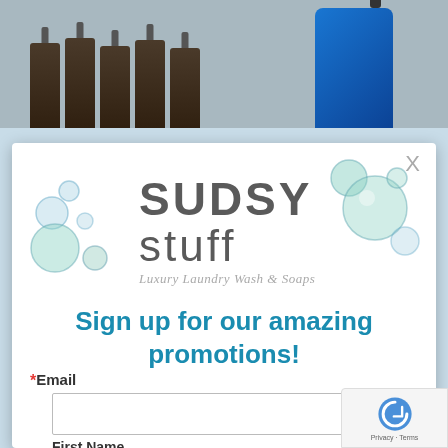[Figure (photo): Background photo showing brown spray bottles on the left and a blue spray bottle on the right against a gray background]
[Figure (logo): Sudsy Stuff logo — 'SUDSY stuff' with bubble graphics and tagline 'Luxury Laundry Wash & Soaps']
Sign up for our amazing promotions!
*Email
First Name